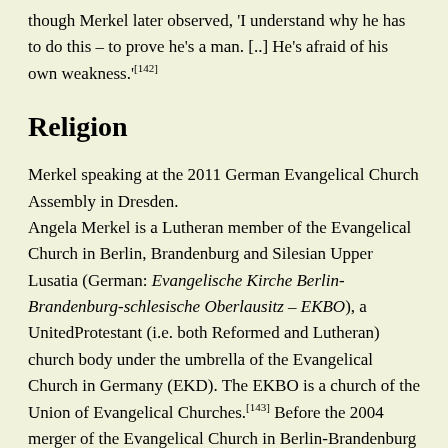though Merkel later observed, 'I understand why he has to do this – to prove he's a man. [..] He's afraid of his own weakness.'[142]
Religion
Merkel speaking at the 2011 German Evangelical Church Assembly in Dresden.
Angela Merkel is a Lutheran member of the Evangelical Church in Berlin, Brandenburg and Silesian Upper Lusatia (German: Evangelische Kirche Berlin-Brandenburg-schlesische Oberlausitz – EKBO), a UnitedProtestant (i.e. both Reformed and Lutheran) church body under the umbrella of the Evangelical Church in Germany (EKD). The EKBO is a church of the Union of Evangelical Churches.[143] Before the 2004 merger of the Evangelical Church in Berlin-Brandenburg and the Evangelical Church in Silesian Upper Lusatia (both also being a part of the EKD), she belonged to the former. In 2012, Merkel said, regarding her faith: 'I am a member of the evangelical church. I believe in God and religion is also my constant companion, and has been for the whole of my life. We